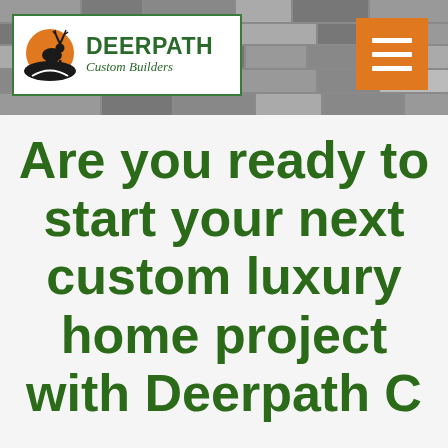[Figure (logo): Deerpath Custom Builders logo with deer silhouette against orange sun, green lettering, white background with green border]
[Figure (other): Orange hamburger menu button with three white horizontal lines]
Are you ready to start your next custom luxury home project with Deerpath Custom